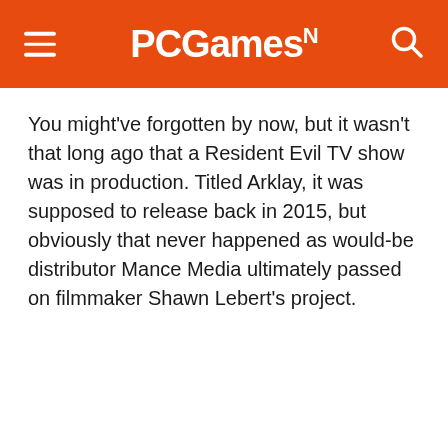PCGamesN
You might've forgotten by now, but it wasn't that long ago that a Resident Evil TV show was in production. Titled Arklay, it was supposed to release back in 2015, but obviously that never happened as would-be distributor Mance Media ultimately passed on filmmaker Shawn Lebert's project.